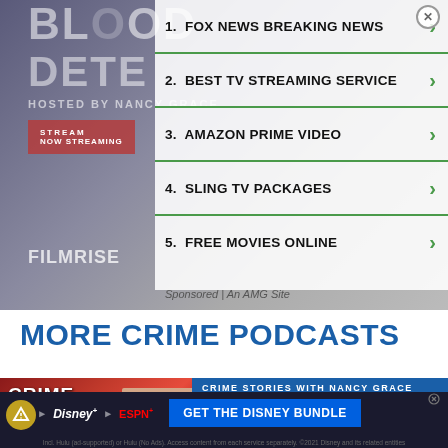[Figure (screenshot): Advertisement block showing Bloodline Detectives hosted by Nancy Grace with a numbered list of links on a semi-transparent white overlay]
1. FOX NEWS BREAKING NEWS
2. BEST TV STREAMING SERVICE
3. AMAZON PRIME VIDEO
4. SLING TV PACKAGES
5. FREE MOVIES ONLINE
Sponsored | An AMG Site
MORE CRIME PODCASTS
[Figure (screenshot): Crime Stories with Nancy Grace podcast thumbnail with play button]
CRIME STORIES WITH NANCY GRACE
Casey White More Murder Charges After Jailhouse Lovers Hole up in Hotel Wit...
[Figure (screenshot): Disney Bundle advertisement banner showing Hulu, Disney+, ESPN+ logos with GET THE DISNEY BUNDLE button and fine print]